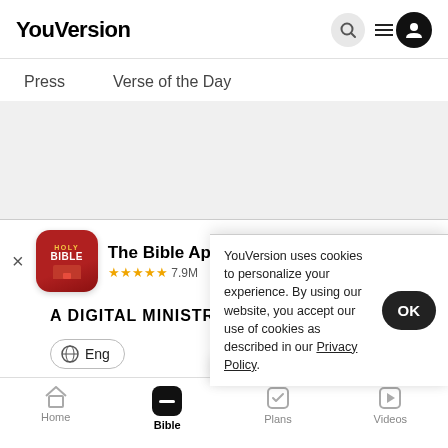YouVersion
Press  Verse of the Day
[Figure (screenshot): App store banner showing The Bible App icon (red rounded square with HOLY BIBLE text and book icon), app name, 5 stars rating 7.9M reviews, and blue Download button]
A DIGITAL MINISTRY OF // LIFE.CHURCH
YouVersion uses cookies to personalize your experience. By using our website, you accept our use of cookies as described in our Privacy Policy.
Home  Bible  Plans  Videos